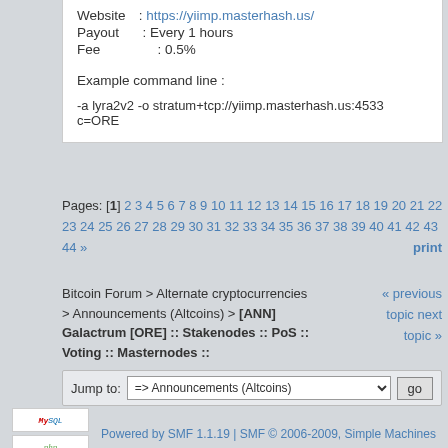Website : https://yiimp.masterhash.us/
Payout : Every 1 hours
Fee : 0.5%
Example command line :
-a lyra2v2 -o stratum+tcp://yiimp.masterhash.us:4533... c=ORE
Pages: [1] 2 3 4 5 6 7 8 9 10 11 12 13 14 15 16 17 18 19 20 21 22 23 24 25 26 27 28 29 30 31 32 33 34 35 36 37 38 39 40 41 42 43 44 »   print
Bitcoin Forum > Alternate cryptocurrencies > Announcements (Altcoins) > [ANN] Galactrum [ORE] :: Stakenodes :: PoS :: Voting :: Masternodes ::
« previous topic next topic »
Jump to:  => Announcements (Altcoins)   go
Powered by SMF 1.1.19 | SMF © 2006-2009, Simple Machines